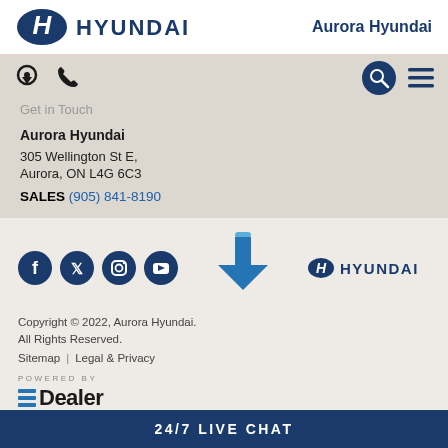[Figure (logo): Hyundai logo with H emblem and HYUNDAI wordmark in blue]
Aurora Hyundai
[Figure (other): Navigation icons: location pin, phone, search circle, hamburger menu]
Get in Touch
Aurora Hyundai
305 Wellington St E,
Aurora, ON L4G 6C3
SALES (905) 841-8190
[Figure (other): Social media icons: Facebook, Twitter, Instagram, YouTube]
[Figure (other): Blue download arrow pointing down]
[Figure (logo): Hyundai logo with H emblem and HYUNDAI wordmark]
Copyright © 2022, Aurora Hyundai. All Rights Reserved.
Sitemap | Legal & Privacy
POWERED BY
[Figure (logo): eDealer logo with three horizontal lines and Dealer text]
24/7 LIVE CHAT